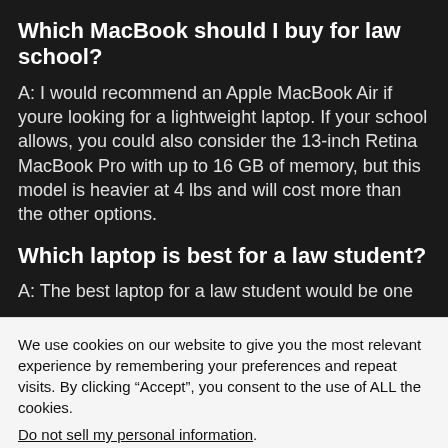Which MacBook should I buy for law school?
A: I would recommend an Apple MacBook Air if youre looking for a lightweight laptop. If your school allows, you could also consider the 13-inch Retina MacBook Pro with up to 16 GB of memory, but this model is heavier at 4 lbs and will cost more than the other options.
Which laptop is best for a law student?
A: The best laptop for a law student would be one
We use cookies on our website to give you the most relevant experience by remembering your preferences and repeat visits. By clicking “Accept”, you consent to the use of ALL the cookies.
Do not sell my personal information.